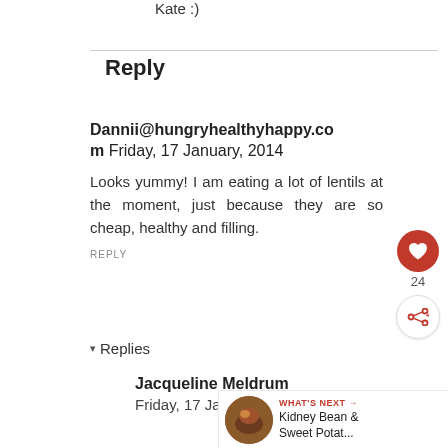Kate :)
Reply
Dannii@hungryhealthyhappy.com Friday, 17 January, 2014
Looks yummy! I am eating a lot of lentils at the moment, just because they are so cheap, healthy and filling.
REPLY
Replies
Jacqueline Meldrum
Friday, 17 January, 2014
[Figure (infographic): What's Next widget showing a circular food image with text 'Kidney Bean & Sweet Potat...']